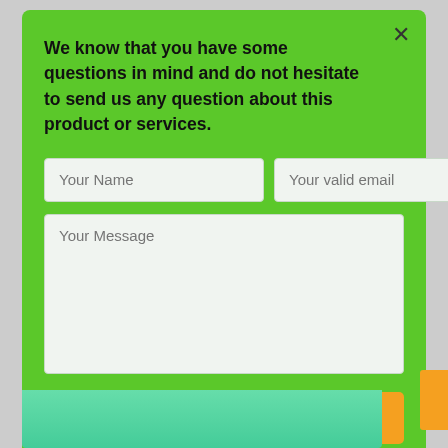We know that you have some questions in mind and do not hesitate to send us any question about this product or services.
[Figure (screenshot): Contact form with fields: Your Name, Your valid email, Your Message textarea, and a SEND YOUR REQUEST button on a green background with an X close button.]